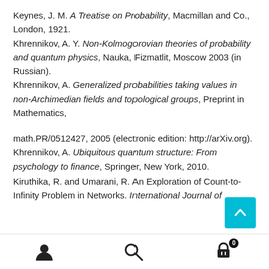Keynes, J. M. A Treatise on Probability, Macmillan and Co., London, 1921.
Khrennikov, A. Y. Non-Kolmogorovian theories of probability and quantum physics, Nauka, Fizmatlit, Moscow 2003 (in Russian).
Khrennikov, A. Generalized probabilities taking values in non-Archimedian fields and topological groups, Preprint in Mathematics,

math.PR/0512427, 2005 (electronic edition: http://arXiv.org).
Khrennikov, A. Ubiquitous quantum structure: From psychology to finance, Springer, New York, 2010.
Kiruthika, R. and Umarani, R. An Exploration of Count-to-Infinity Problem in Networks. International Journal of